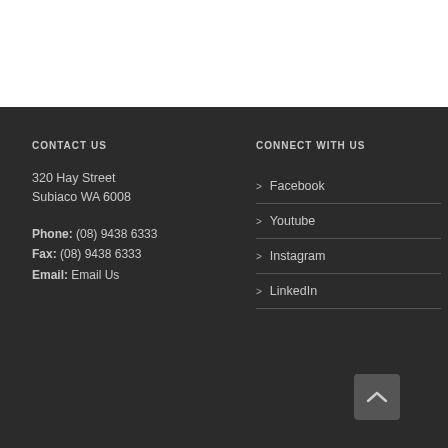CONTACT US
320 Hay Street
Subiaco WA 6008
Phone: (08) 9438 6333
Fax: (08) 9438 6333
Email: Email Us
CONNECT WITH US
Facebook
Youtube
Instagram
LinkedIn